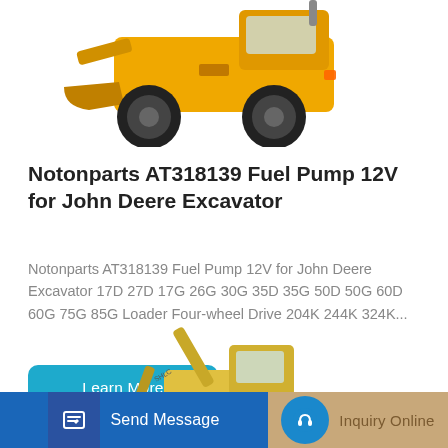[Figure (photo): Yellow wheel loader (front-end loader) with large black tires, partially visible, photographed from a low angle against white background]
Notonparts AT318139 Fuel Pump 12V for John Deere Excavator
Notonparts AT318139 Fuel Pump 12V for John Deere Excavator 17D 27D 17G 26G 30G 35D 35G 50D 50G 60D 60G 75G 85G Loader Four-wheel Drive 204K 244K 324K...
[Figure (other): Blue rounded rectangle button labeled 'Learn More']
[Figure (photo): Yellow mini excavator (SHLC brand) with arm extended, photographed against white background]
[Figure (other): Bottom navigation bar with two sections: blue 'Send Message' button on left with edit icon, and tan/gold 'Inquiry Online' section on right with blue circular headset icon]